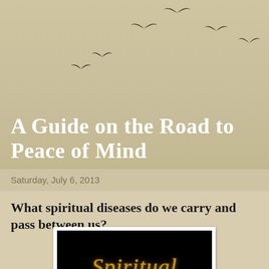[Figure (illustration): Silhouettes of birds flying in a curved arc pattern against a beige/tan background]
A Guide on the Road to Peace of Mind
Saturday, July 6, 2013
What spiritual diseases do we carry and pass between us?
[Figure (photo): Black background image with the word 'Spiritual' written in golden/yellow glowing text]